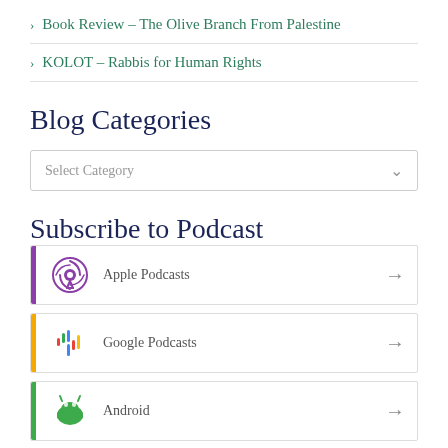Book Review – The Olive Branch From Palestine
KOLOT – Rabbis for Human Rights
Blog Categories
Select Category
Subscribe to Podcast
Apple Podcasts
Google Podcasts
Android